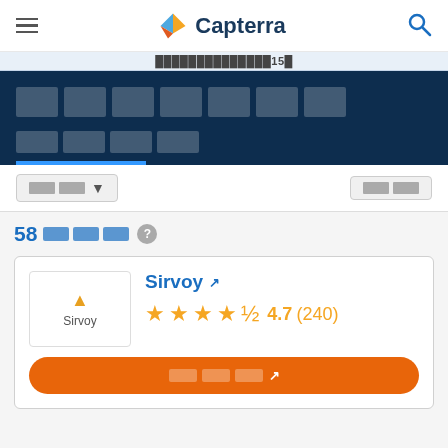Capterra
15
█████████
██████
████ ▼
████
58█████ ?
Sirvoy ↗  ★★★★½ 4.7 (240)